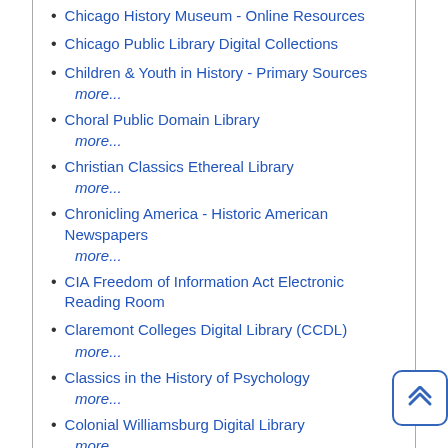Chicago History Museum - Online Resources
Chicago Public Library Digital Collections
Children & Youth in History - Primary Sources
more...
Choral Public Domain Library
more...
Christian Classics Ethereal Library
more...
Chronicling America - Historic American Newspapers
more...
CIA Freedom of Information Act Electronic Reading Room
Claremont Colleges Digital Library (CCDL)
more...
Classics in the History of Psychology
more...
Colonial Williamsburg Digital Library
more...
Columbia University Libraries Digital Collections